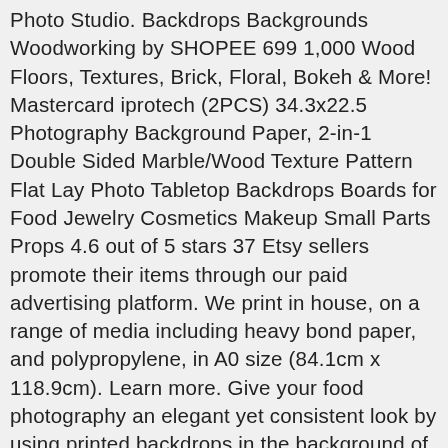Photo Studio. Backdrops Backgrounds Woodworking by SHOPEE 699 1,000 Wood Floors, Textures, Brick, Floral, Bokeh & More! Mastercard iprotech (2PCS) 34.3x22.5 Photography Background Paper, 2-in-1 Double Sided Marble/Wood Texture Pattern Flat Lay Photo Tabletop Backdrops Boards for Food Jewelry Cosmetics Makeup Small Parts Props 4.6 out of 5 stars 37 Etsy sellers promote their items through our paid advertising platform. We print in house, on a range of media including heavy bond paper, and polypropylene, in A0 size (84.1cm x 118.9cm). Learn more. Give your food photography an elegant yet consistent look by using printed backdrops in the background of your frame. Shares By placing a specialist board behind or underneath subjects, itâs possible to create a cohesive-looking scene using a relatively small amount of space and budget (Image credit: Debby Donnelly-Addison, Instagram @thebohobaker) Etsy will stop supporting older versions of Safari in the near future. Laura â April 17, 2016 @ 10:41 am Reply. art. Huge range of Food Photo Backgrounds and idea's to inspire the